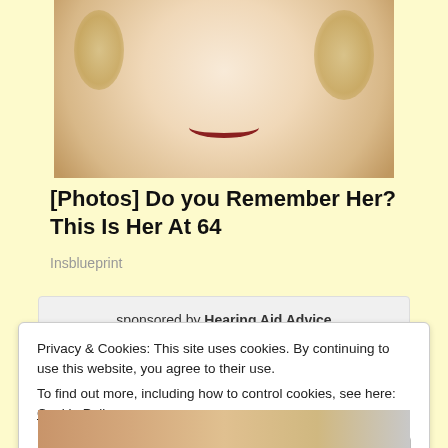[Figure (photo): Close-up photo of a smiling young woman with curly blonde hair and red lipstick]
[Photos] Do you Remember Her? This Is Her At 64
Insblueprint
sponsored by Hearing Aid Advice
Privacy & Cookies: This site uses cookies. By continuing to use this website, you agree to their use.
To find out more, including how to control cookies, see here: Cookie Policy
[Figure (photo): Partial photo visible at bottom of page]